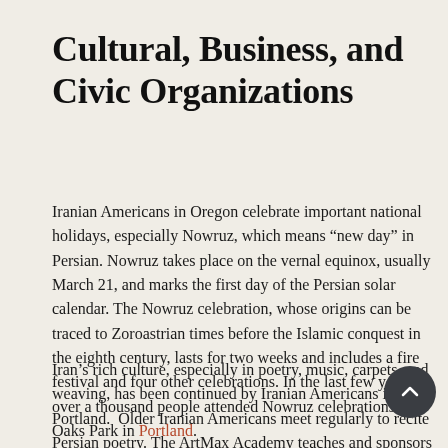Cultural, Business, and Civic Organizations
Iranian Americans in Oregon celebrate important national holidays, especially Nowruz, which means “new day” in Persian. Nowruz takes place on the vernal equinox, usually March 21, and marks the first day of the Persian solar calendar. The Nowruz celebration, whose origins can be traced to Zoroastrian times before the Islamic conquest in the eighth century, lasts for two weeks and includes a fire festival and four other celebrations. In the last few years, over a thousand people attended Nowruz celebrations at Oaks Park in Portland.
Iran’s rich culture, especially in poetry, music, carpets, and weaving, has been continued by Iranian Americans in Portland.  Older Iranian Americans meet regularly to recite Persian poetry. The ArtMax Academy teaches and sponsors concerts of Iranian music, which draw large